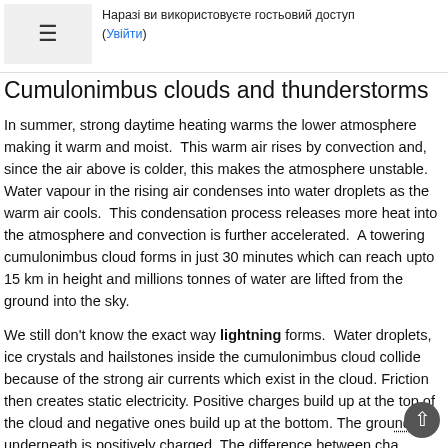Наразі ви використовуєте гостьовий доступ (Увійти)
Cumulonimbus clouds and thunderstorms
In summer, strong daytime heating warms the lower atmosphere making it warm and moist.  This warm air rises by convection and, since the air above is colder, this makes the atmosphere unstable.  Water vapour in the rising air condenses into water droplets as the warm air cools.  This condensation process releases more heat into the atmosphere and convection is further accelerated.  A towering cumulonimbus cloud forms in just 30 minutes which can reach upto 15 km in height and millions tonnes of water are lifted from the ground into the sky.
We still don't know the exact way lightning forms.  Water droplets, ice crystals and hailstones inside the cumulonimbus cloud collide because of the strong air currents which exist in the cloud. Friction then creates static electricity. Positive charges build up at the top of the cloud and negative ones build up at the bottom. The ground underneath is positively charged. The difference between cha